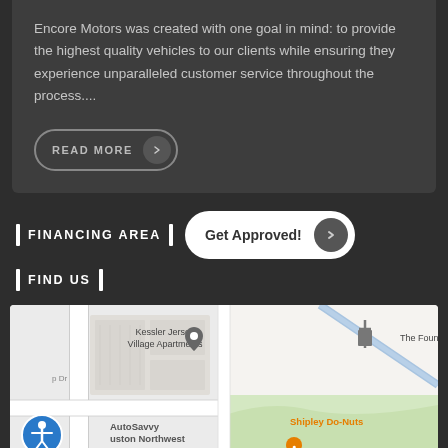Encore Motors was created with one goal in mind: to provide the highest quality vehicles to our clients while ensuring they experience unparalleled customer service throughout the process....
READ MORE
FINANCING AREA
Get Approved!
FIND US
[Figure (map): Google Maps screenshot showing Kessler Jersey Village Apartments, The Foundry Ch(urch), AutoSavvy Houston Northwest, Shipley Do-Nuts location markers]